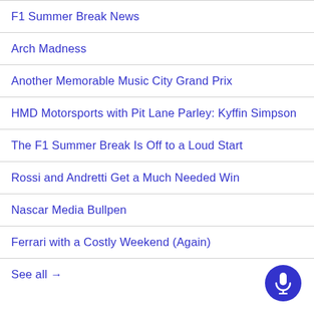F1 Summer Break News
Arch Madness
Another Memorable Music City Grand Prix
HMD Motorsports with Pit Lane Parley: Kyffin Simpson
The F1 Summer Break Is Off to a Loud Start
Rossi and Andretti Get a Much Needed Win
Nascar Media Bullpen
Ferrari with a Costly Weekend (Again)
See all →